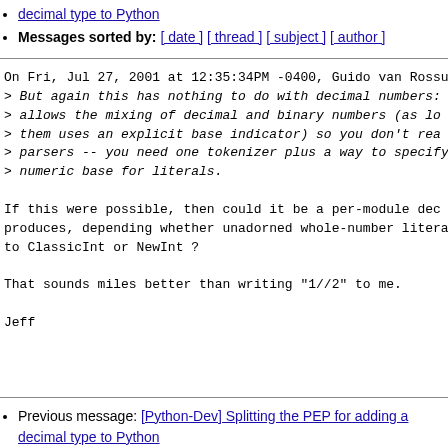[Python-Dev] Splitting the PEP for adding a decimal type to Python
Messages sorted by: [ date ] [ thread ] [ subject ] [ author ]
On Fri, Jul 27, 2001 at 12:35:34PM -0400, Guido van Rossu
> But again this has nothing to do with decimal numbers:
> allows the mixing of decimal and binary numbers (as lo
> them uses an explicit base indicator) so you don't rea
> parsers -- you need one tokenizer plus a way to specify
> numeric base for literals.

If this were possible, then could it be a per-module dec
produces, depending whether unadorned whole-number litera
to ClassicInt or NewInt ?

That sounds miles better than writing "1//2" to me.

Jeff
Previous message: [Python-Dev] Splitting the PEP for adding a decimal type to Python
Next message: [Python-Dev] Splitting the PEP for adding a decimal type to Python
Messages sorted by: [ date ] [ thread ] [ subject ] [ author ]